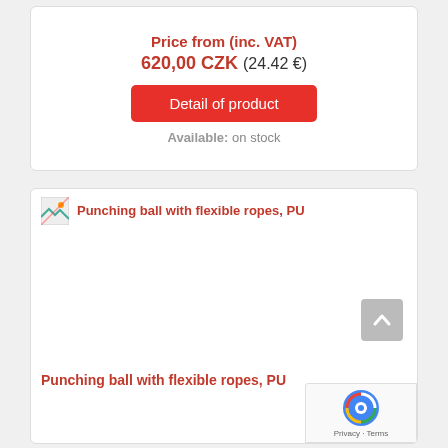Price from (inc. VAT)
620,00 CZK (24.42 €)
Detail of product
Available: on stock
[Figure (other): Broken image placeholder for Punching ball with flexible ropes, PU product image]
Punching ball with flexible ropes, PU
Punching ball with flexible ropes, PU